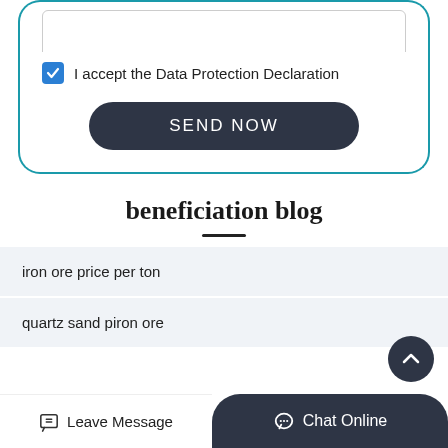[Figure (screenshot): Text area input box at top of form card]
I accept the Data Protection Declaration
SEND NOW
beneficiation blog
iron ore price per ton
quartz sand piron ore
Leave Message
Chat Online